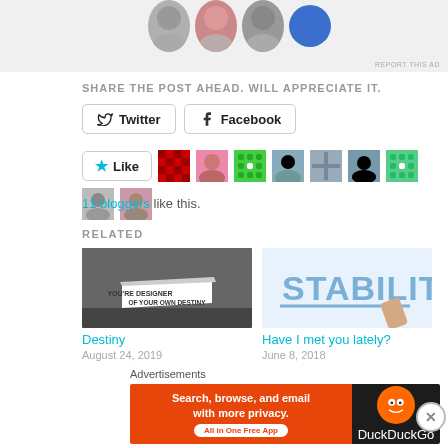[Figure (screenshot): Top ad banner with profile avatars and REPORT THIS AD label]
SHARE THE POST AHEAD. WILL APPRECIATE IT.
[Figure (screenshot): Twitter and Facebook share buttons]
[Figure (screenshot): Like button with star icon and blogger avatar thumbnails]
11 bloggers like this.
RELATED
[Figure (photo): Destiny - torn paper revealing text YOU'RE DESIGNER OF YOUR OWN DESTINY on dark background]
[Figure (photo): Have I met you lately? - hand writing STABILITY in blue marker]
Destiny
Have I met you lately?
August 24, 2019
June 8, 2018
Advertisements
[Figure (screenshot): DuckDuckGo advertisement banner - Search, browse, and email with more privacy. All in One Free App]